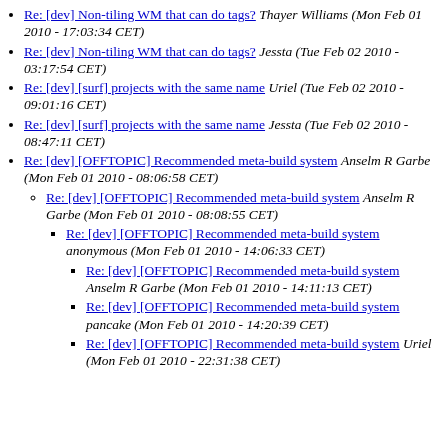Re: [dev] Non-tiling WM that can do tags? Thayer Williams (Mon Feb 01 2010 - 17:03:34 CET)
Re: [dev] Non-tiling WM that can do tags? Jessta (Tue Feb 02 2010 - 03:17:54 CET)
Re: [dev] [surf] projects with the same name Uriel (Tue Feb 02 2010 - 09:01:16 CET)
Re: [dev] [surf] projects with the same name Jessta (Tue Feb 02 2010 - 08:47:11 CET)
Re: [dev] [OFFTOPIC] Recommended meta-build system Anselm R Garbe (Mon Feb 01 2010 - 08:06:58 CET)
Re: [dev] [OFFTOPIC] Recommended meta-build system Anselm R Garbe (Mon Feb 01 2010 - 08:08:55 CET)
Re: [dev] [OFFTOPIC] Recommended meta-build system anonymous (Mon Feb 01 2010 - 14:06:33 CET)
Re: [dev] [OFFTOPIC] Recommended meta-build system Anselm R Garbe (Mon Feb 01 2010 - 14:11:13 CET)
Re: [dev] [OFFTOPIC] Recommended meta-build system pancake (Mon Feb 01 2010 - 14:20:39 CET)
Re: [dev] [OFFTOPIC] Recommended meta-build system Uriel (Mon Feb 01 2010 - 22:31:38 CET)